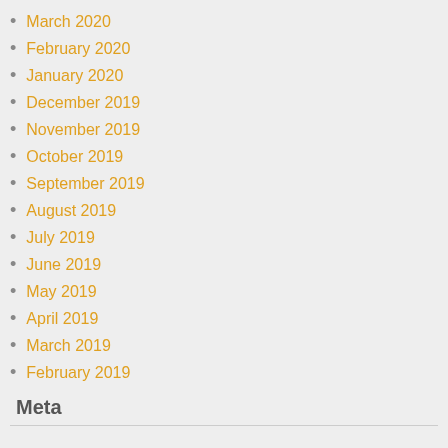March 2020
February 2020
January 2020
December 2019
November 2019
October 2019
September 2019
August 2019
July 2019
June 2019
May 2019
April 2019
March 2019
February 2019
Meta